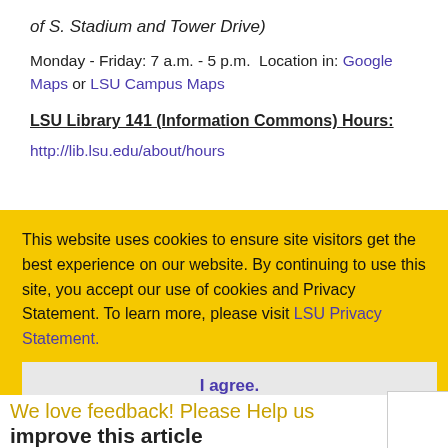of S. Stadium and Tower Drive)
Monday - Friday: 7 a.m. - 5 p.m.  Location in: Google Maps or LSU Campus Maps
LSU Library 141 (Information Commons) Hours:
http://lib.lsu.edu/about/hours
This website uses cookies to ensure site visitors get the best experience on our website. By continuing to use this site, you accept our use of cookies and Privacy Statement. To learn more, please visit LSU Privacy Statement.
I agree.
We love feedback! Please Help us improve this article